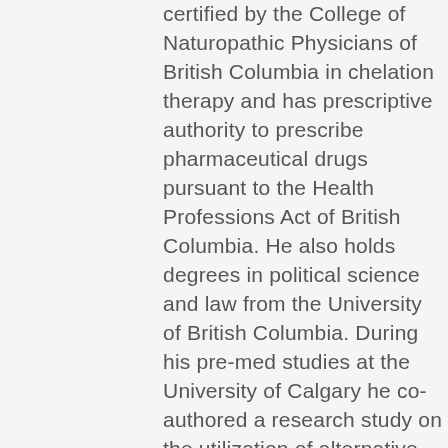certified by the College of Naturopathic Physicians of British Columbia in chelation therapy and has prescriptive authority to prescribe pharmaceutical drugs pursuant to the Health Professions Act of British Columbia. He also holds degrees in political science and law from the University of British Columbia. During his pre-med studies at the University of Calgary he co-authored a research study on the utilization of alternative medicine by patients attending a gastroenterology clinic at Foothills Hospital in Calgary. The study is published in the Canadian Medical Association Journal. Dr. Brkich is a member of the Canadian Association of Naturopathic Doctors (CAND); a member and past board member of the British Columbia